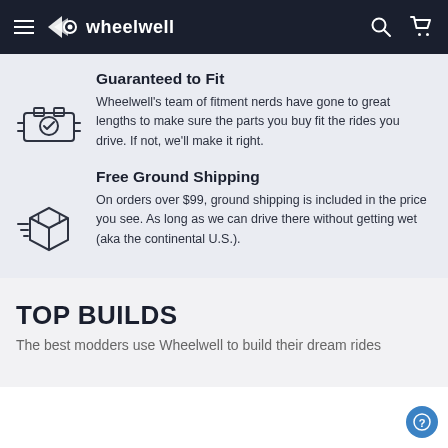wheelwell
Guaranteed to Fit
Wheelwell's team of fitment nerds have gone to great lengths to make sure the parts you buy fit the rides you drive. If not, we'll make it right.
Free Ground Shipping
On orders over $99, ground shipping is included in the price you see. As long as we can drive there without getting wet (aka the continental U.S.).
TOP BUILDS
The best modders use Wheelwell to build their dream rides